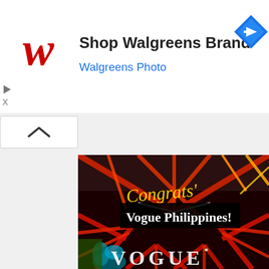[Figure (logo): Walgreens ad banner with logo, text 'Shop Walgreens Brand / Walgreens Photo', and a blue diamond navigation icon]
[Figure (photo): Event photo with colorful laser lights forming geometric star/diamond patterns in red, white and orange. Text overlay reads 'Congrats'' in yellow script and 'Vogue Philippines!' in white serif font on black background. VOGUE branding visible at bottom. A performer visible in lower left corner.]